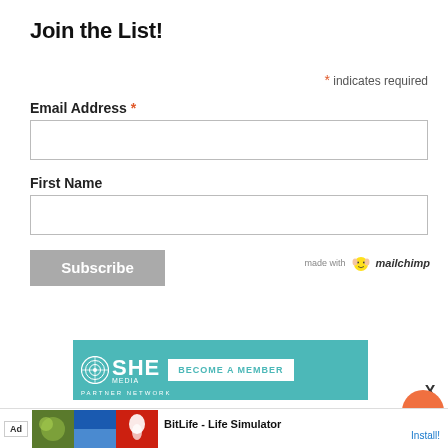Join the List!
* indicates required
Email Address *
First Name
Subscribe
[Figure (logo): Mailchimp 'made with' branding logo with monkey icon and mailchimp wordmark]
[Figure (infographic): SHE Media Partner Network teal banner with 'BECOME A MEMBER' button]
[Figure (screenshot): Mobile ad banner for BitLife - Life Simulator with Install button]